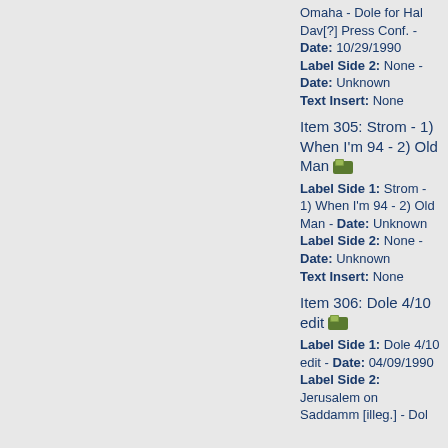Omaha - Dole for Hal Dav[?] Press Conf. - Date: 10/29/1990 Label Side 2: None - Date: Unknown Text Insert: None
Item 305: Strom - 1) When I'm 94 - 2) Old Man
Label Side 1: Strom - 1) When I'm 94 - 2) Old Man - Date: Unknown Label Side 2: None - Date: Unknown Text Insert: None
Item 306: Dole 4/10 edit
Label Side 1: Dole 4/10 edit - Date: 04/09/1990 Label Side 2: Jerusalem on Saddamm [illeg.] - Dol...